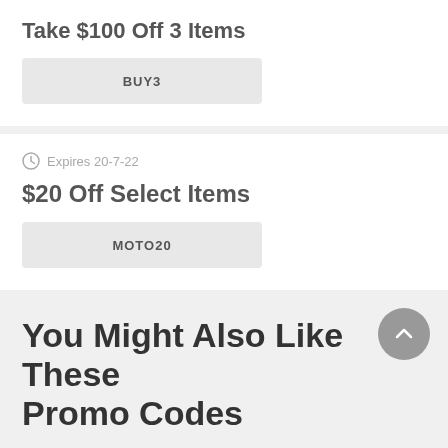Take $100 Off 3 Items
BUY3
Expires 20-7-22
$20 Off Select Items
MOTO20
You Might Also Like These Promo Codes